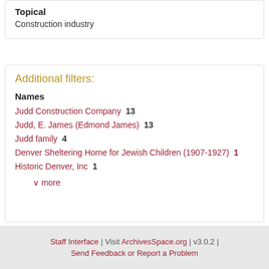Topical
Construction industry
Additional filters:
Names
Judd Construction Company  13
Judd, E. James (Edmond James)  13
Judd family  4
Denver Sheltering Home for Jewish Children (1907-1927)  1
Historic Denver, Inc  1
∨ more
Staff Interface | Visit ArchivesSpace.org | v3.0.2 | Send Feedback or Report a Problem